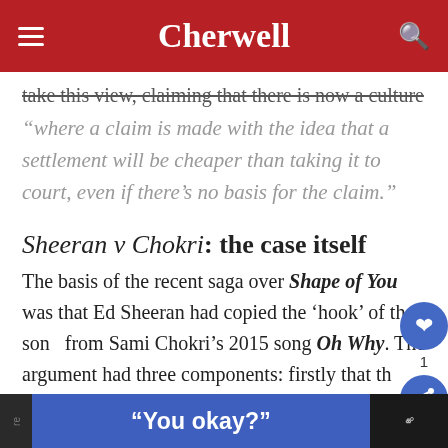Cherwell
take this view, claiming that there is now a culture
“where a claim is made with the idea that a settlement will be cheaper than taking it to court, even if there’s no basis for the claim.”
Sheeran v Chokri: the case itself
The basis of the recent saga over Shape of You was that Ed Sheeran had copied the ‘hook’ of the song from Sami Chokri’s 2015 song Oh Why. The argument had three components: firstly that the similarity between the two is too clear to be a